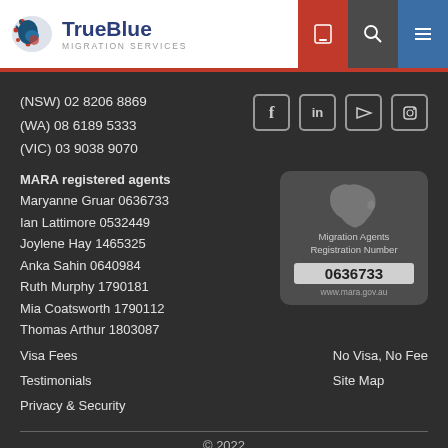TrueBlue Migration Services
(NSW) 02 8206 8869
(WA) 08 6189 5333
(VIC) 03 9038 9070
MARA registered agents
Maryanne Gruar 0636733
Ian Lattimore 0532449
Joylene Hay 1465325
Anka Sahin 0640984
Ruth Murphy 1790181
Mia Coatsworth 1790112
Thomas Arthur 1803087
[Figure (logo): Migration Agents Registration Number 0636733 badge with Australia map outline, www.mara.gov.au]
Visa Fees
Testimonials
Privacy & Security
No Visa, No Fee
Site Map
© 2022